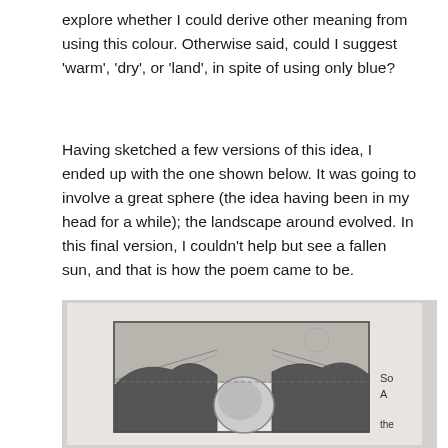explore whether I could derive other meaning from using this colour. Otherwise said, could I suggest 'warm', 'dry', or 'land', in spite of using only blue?
Having sketched a few versions of this idea, I ended up with the one shown below. It was going to involve a great sphere (the idea having been in my head for a while); the landscape around evolved. In this final version, I couldn't help but see a fallen sun, and that is how the poem came to be.
[Figure (illustration): A pencil sketch showing a landscape with a large sphere (fallen sun) in the center, dark landmasses on either side, and a horizon line. Text annotations visible on the right edge reading 'So', 'A', 'the'. The sketch is enclosed in a hand-drawn rectangle border.]